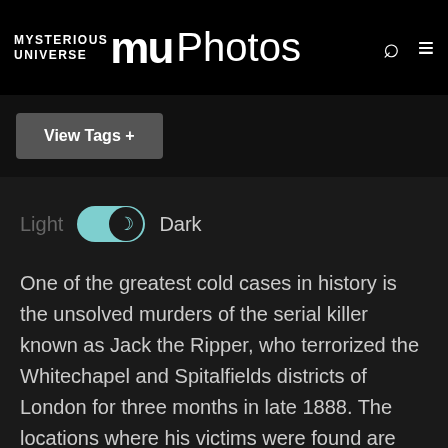MYSTERIOUS UNIVERSE mu Photos
View Tags +
Light  Dark
One of the greatest cold cases in history is the unsolved murders of the serial killer known as Jack the Ripper, who terrorized the Whitechapel and Spitalfields districts of London for three months in late 1888. The locations where his victims were found are well documented and well investigated by the police, the curious and the ghost hunters. Recently, paranormal